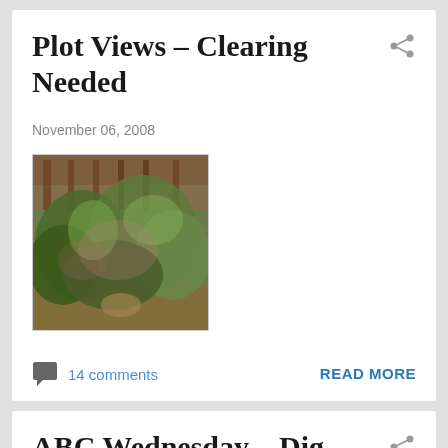Plot Views – Clearing Needed
November 06, 2008
[Figure (photo): Outdoor garden/allotment plot photo showing overgrown plants, shrubs and greenery with a wooden fence visible in the background]
14 comments
READ MORE
ABC Wednesday – Dig for...